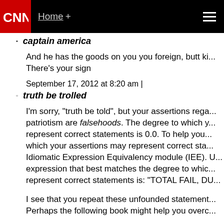CNN | Home +
captain america
And he has the goods on you you foreign, butt ki... There's your sign
September 17, 2012 at 8:20 am |
truth be trolled
I'm sorry, "truth be told", but your assertions rega... patriotism are falsehoods. The degree to which y... represent correct statements is 0.0. To help you... which your assertions may represent correct sta... Idiomatic Expression Equivalency module (IEE). U... expression that best matches the degree to whic... represent correct statements is: "TOTAL FAIL, DU...
I see that you repeat these unfounded statement... Perhaps the following book might help you overc...
I'm Told I Have Dementia: What You Can Do... Wh... by the Alzheimer's Disease Society